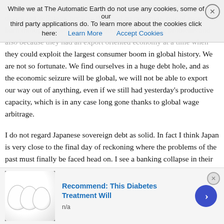ole more of an Argentine timeline. Japan has been mired in a long drawn out deflation, because they had an enormous pile of money to burn through before having to address their banking problems and also because they had an export oriented economy at a time when they could exploit the largest consumer boom in global history. We are not so fortunate. We find ourselves in a huge debt hole, and as the economic seizure will be global, we will not be able to export our way out of anything, even if we still had yesterday's productive capacity, which is in any case long gone thanks to global wage arbitrage.
I do not regard Japanese sovereign debt as solid. In fact I think Japan is very close to the final day of reckoning where the problems of the past must finally be faced head on. I see a banking collapse in their near future, compounded by their extreme dependence on imported resources, which they will not be able to afford if their export markets die for lack of consumers with purchasing power.
The main point of contention I have with Mr Lira centres around the
[Figure (screenshot): Cookie consent banner overlay: 'While we at The Automatic Earth do not use any cookies, some of our third party applications do. To learn more about the cookies click here: Learn More | Accept Cookies']
[Figure (infographic): Advertisement banner at bottom: 'Recommend: This Diabetes Treatment Will' with egg image and n/a text, blue arrow button]